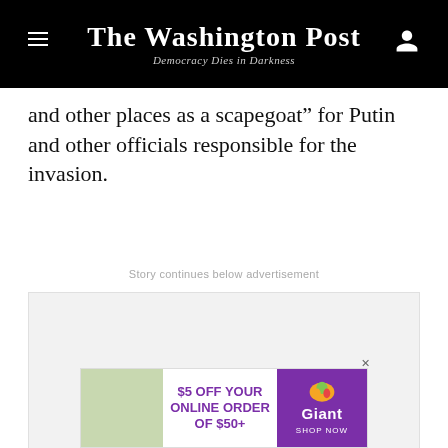The Washington Post — Democracy Dies in Darkness
and other places as a scapegoat” for Putin and other officials responsible for the invasion.
Story continues below advertisement
[Figure (other): Advertisement placeholder (blank grey box)]
[Figure (other): Giant Food advertisement: $5 OFF YOUR ONLINE ORDER OF $50+ with Giant logo and SHOP NOW button]